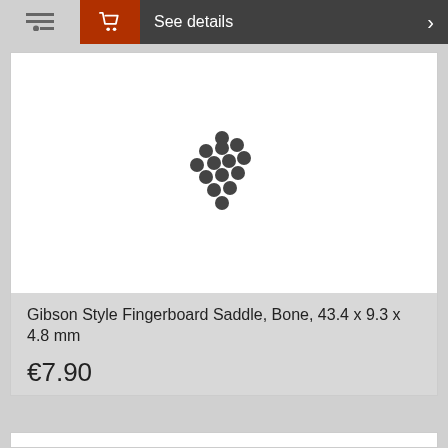[Figure (screenshot): Top navigation bar with menu icon, red shopping cart icon, and 'See details' text with arrow]
[Figure (other): Loading spinner dots animation centered in white product image area]
Gibson Style Fingerboard Saddle, Bone, 43.4 x 9.3 x 4.8 mm
€7.90
incl. VAT plus shipping costs
Article No. 580124
[Figure (screenshot): Bottom navigation bar with menu icon, red shopping cart icon, and 'See details' text with arrow]